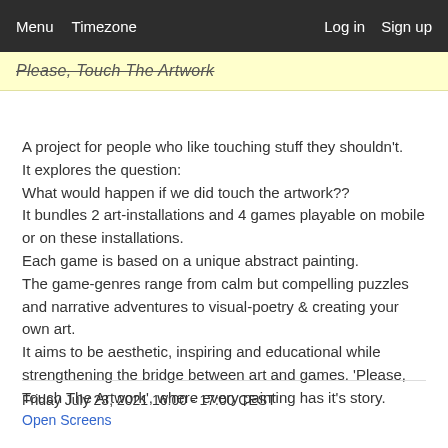Menu  Timezone  Log in  Sign up
Please, Touch The Artwork
A project for people who like touching stuff they shouldn't. It explores the question:
What would happen if we did touch the artwork??
It bundles 2 art-installations and 4 games playable on mobile or on these installations.
Each game is based on a unique abstract painting.
The game-genres range from calm but compelling puzzles and narrative adventures to visual-poetry & creating your own art.
It aims to be aesthetic, inspiring and educational while strengthening the bridge between art and games. 'Please, Touch The Artwork', where every painting has it's story.
Friday July 23, 2021 16:00 - 17:00 CEST
Open Screens